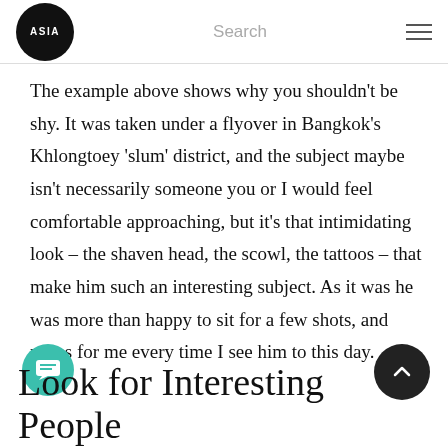ASIA | Search | ☰
The example above shows why you shouldn't be shy. It was taken under a flyover in Bangkok's Khlongtoey 'slum' district, and the subject maybe isn't necessarily someone you or I would feel comfortable approaching, but it's that intimidating look – the shaven head, the scowl, the tattoos – that make him such an interesting subject. As it was he was more than happy to sit for a few shots, and poses for me every time I see him to this day.
Look for Interesting People